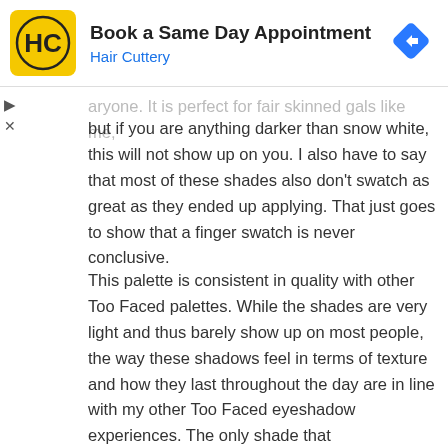[Figure (infographic): Hair Cuttery advertisement banner with logo, title 'Book a Same Day Appointment', subtitle 'Hair Cuttery', and a blue navigation arrow icon on the right.]
aryone. It is perfect for fair skinned gals like me, but if you are anything darker than snow white, this will not show up on you. I also have to say that most of these shades also don't swatch as great as they ended up applying. That just goes to show that a finger swatch is never conclusive.
This palette is consistent in quality with other Too Faced palettes. While the shades are very light and thus barely show up on most people, the way these shadows feel in terms of texture and how they last throughout the day are in line with my other Too Faced eyeshadow experiences. The only shade that